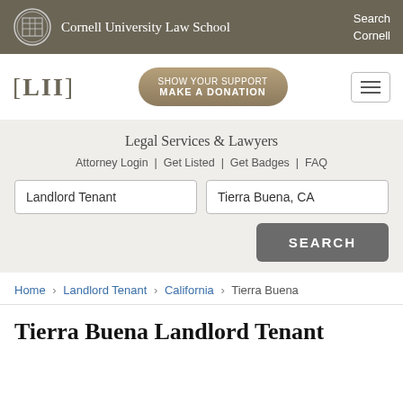Cornell University Law School | Search Cornell
[Figure (logo): LII Legal Information Institute logo with [LII] bracket text and 'SHOW YOUR SUPPORT MAKE A DONATION' button]
Legal Services & Lawyers
Attorney Login | Get Listed | Get Badges | FAQ
Landlord Tenant [search field] | Tierra Buena, CA [search field] | SEARCH button
Home > Landlord Tenant > California > Tierra Buena
Tierra Buena Landlord Tenant